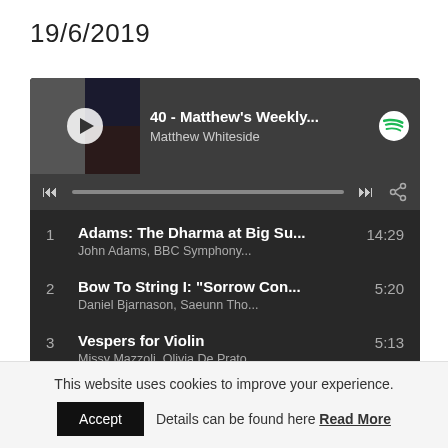19/6/2019
[Figure (screenshot): Spotify embedded player widget showing playlist '40 - Matthew's Weekly...' by Matthew Whiteside, with 4 tracks: 1. Adams: The Dharma at Big Su... 14:29 by John Adams, BBC Symphony...; 2. Bow To String I: 'Sorrow Con...' 5:20 by Daniel Bjarnason, Saeunn Tho...; 3. Vespers for Violin 5:13 by Missy Mazzoli, Olivia De Prato; 4. Exhibition Music 12:39 by Emma Lloyd, Abby Hayward, ...]
This website uses cookies to improve your experience.
Accept   Details can be found here Read More